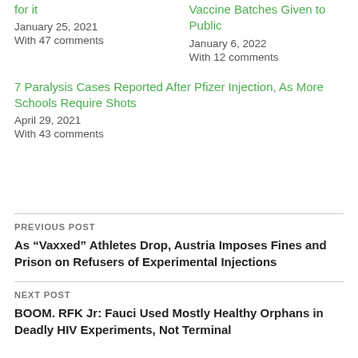for it
January 25, 2021
With 47 comments
Vaccine Batches Given to Public
January 6, 2022
With 12 comments
7 Paralysis Cases Reported After Pfizer Injection, As More Schools Require Shots
April 29, 2021
With 43 comments
PREVIOUS POST
As “Vaxxed” Athletes Drop, Austria Imposes Fines and Prison on Refusers of Experimental Injections
NEXT POST
BOOM. RFK Jr: Fauci Used Mostly Healthy Orphans in Deadly HIV Experiments, Not Terminal